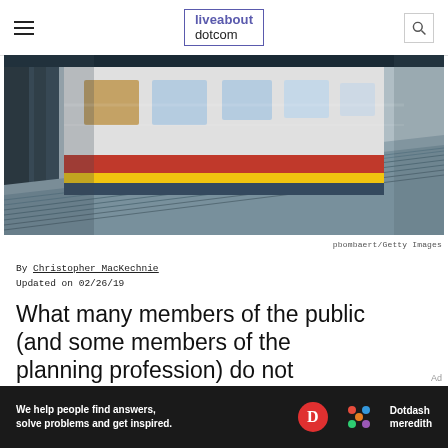liveabout dotcom
[Figure (photo): A blurred motion photo of a subway/underground train speeding along a platform, dark pillars on the left and the train in red and white on the right.]
pbombaert/Getty Images
By Christopher MacKechnie
Updated on 02/26/19
What many members of the public (and some members of the planning profession) do not
[Figure (other): Dotdash Meredith advertisement banner: 'We help people find answers, solve problems and get inspired.']